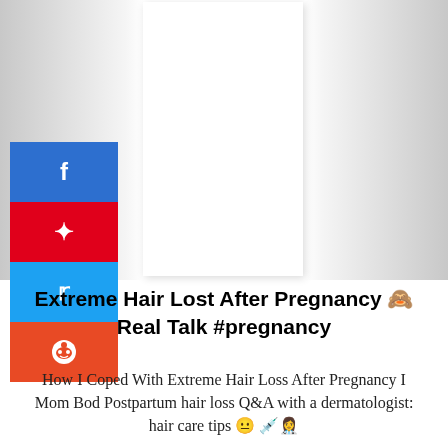[Figure (photo): White card/image placeholder in center with gray shadowed background, and four social media share buttons (Facebook, Pinterest, Twitter, Reddit) on the left side]
Extreme Hair Lost After Pregnancy 🙈 Real Talk #pregnancy
How I Coped With Extreme Hair Loss After Pregnancy I Mom Bod Postpartum hair loss Q&A with a dermatologist: hair care tips 😶 💉 👩‍⚕️